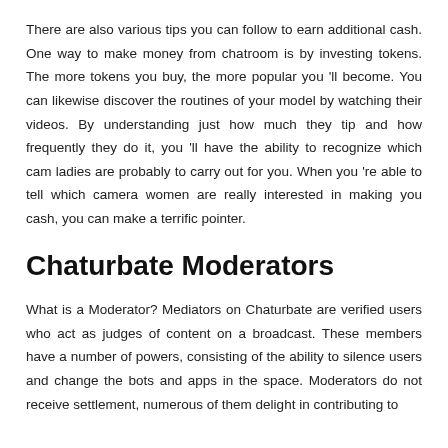There are also various tips you can follow to earn additional cash. One way to make money from chatroom is by investing tokens. The more tokens you buy, the more popular you 'll become. You can likewise discover the routines of your model by watching their videos. By understanding just how much they tip and how frequently they do it, you 'll have the ability to recognize which cam ladies are probably to carry out for you. When you 're able to tell which camera women are really interested in making you cash, you can make a terrific pointer.
Chaturbate Moderators
What is a Moderator? Mediators on Chaturbate are verified users who act as judges of content on a broadcast. These members have a number of powers, consisting of the ability to silence users and change the bots and apps in the space. Moderators do not receive settlement, numerous of them delight in contributing to